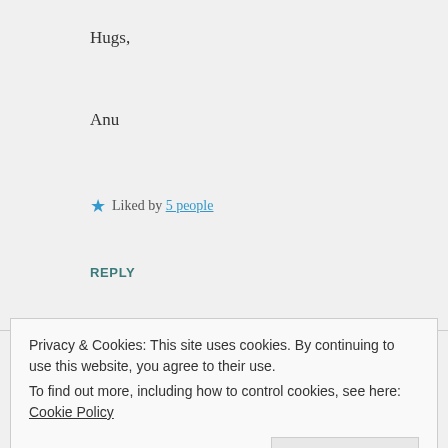Hugs,
Anu
★ Liked by 5 people
REPLY
arshi67
Privacy & Cookies: This site uses cookies. By continuing to use this website, you agree to their use.
To find out more, including how to control cookies, see here: Cookie Policy
Close and accept
forward to your musings on my